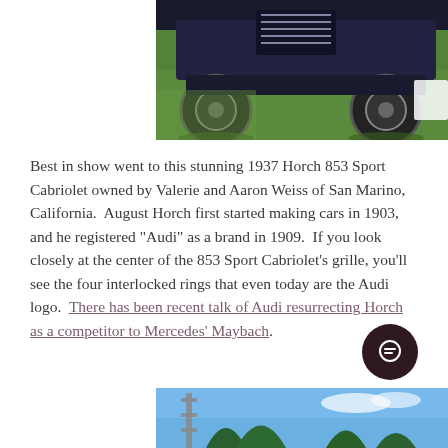[Figure (photo): Partial view of a vintage car on grass, showing the front lower section including wheels and grille area, taken at an outdoor car show.]
Best in show went to this stunning 1937 Horch 853 Sport Cabriolet owned by Valerie and Aaron Weiss of San Marino, California.  August Horch first started making cars in 1903, and he registered "Audi" as a brand in 1909.  If you look closely at the center of the 853 Sport Cabriolet's grille, you'll see the four interlocked rings that even today are the Audi logo.  There has been recent talk of Audi resurrecting Horch as a competitor to Mercedes' Maybach.
[Figure (photo): Partial view of a blue sky with trees and what appears to be a tower or structure, bottom of page.]